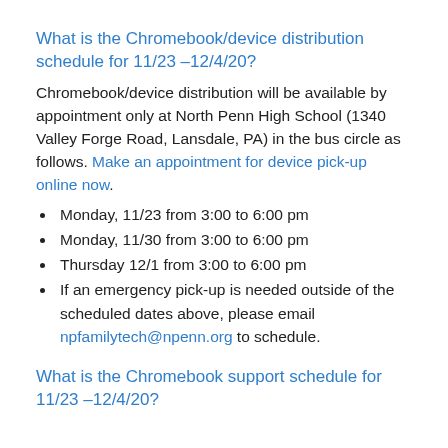What is the Chromebook/device distribution schedule for 11/23 –12/4/20?
Chromebook/device distribution will be available by appointment only at North Penn High School (1340 Valley Forge Road, Lansdale, PA) in the bus circle as follows. Make an appointment for device pick-up online now.
Monday, 11/23 from 3:00 to 6:00 pm
Monday, 11/30 from 3:00 to 6:00 pm
Thursday 12/1 from 3:00 to 6:00 pm
If an emergency pick-up is needed outside of the scheduled dates above, please email npfamilytech@npenn.org to schedule.
What is the Chromebook support schedule for 11/23 –12/4/20?